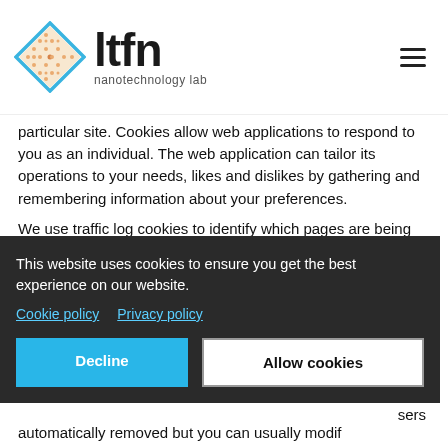[Figure (logo): LTFN nanotechnology lab logo with diamond/rhombus shaped icon and stylized text 'ltfn nanotechnology lab']
particular site. Cookies allow web applications to respond to you as an individual. The web application can tailor its operations to your needs, likes and dislikes by gathering and remembering information about your preferences.
We use traffic log cookies to identify which pages are being used. This helps us analyze data about web page traffic and improve our website in order to tailor it to customer needs. We only use this information for statistical analysis purposes and then the data is
This website uses cookies to ensure you get the best experience on our website.
Cookie policy   Privacy policy
[Decline]  [Allow cookies]
sers
automatically removed but you can usually modify